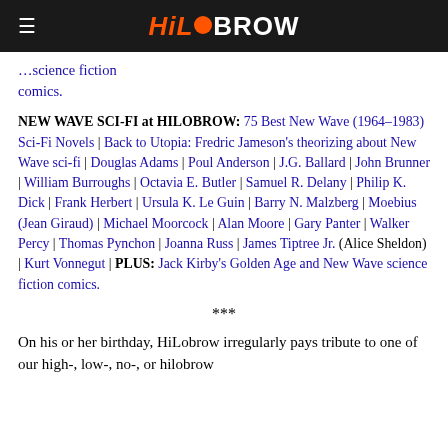HiLoBrow
…science fiction comics.
NEW WAVE SCI-FI at HILOBROW: 75 Best New Wave (1964–1983) Sci-Fi Novels | Back to Utopia: Fredric Jameson's theorizing about New Wave sci-fi | Douglas Adams | Poul Anderson | J.G. Ballard | John Brunner | William Burroughs | Octavia E. Butler | Samuel R. Delany | Philip K. Dick | Frank Herbert | Ursula K. Le Guin | Barry N. Malzberg | Moebius (Jean Giraud) | Michael Moorcock | Alan Moore | Gary Panter | Walker Percy | Thomas Pynchon | Joanna Russ | James Tiptree Jr. (Alice Sheldon) | Kurt Vonnegut | PLUS: Jack Kirby's Golden Age and New Wave science fiction comics.
***
On his or her birthday, HiLobrow irregularly pays tribute to one of our high-, low-, no-, or hilobrow